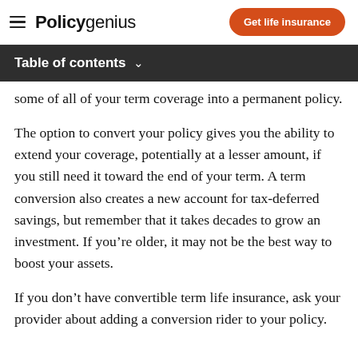Policygenius | Get life insurance
Table of contents
some of all of your term coverage into a permanent policy.
The option to convert your policy gives you the ability to extend your coverage, potentially at a lesser amount, if you still need it toward the end of your term. A term conversion also creates a new account for tax-deferred savings, but remember that it takes decades to grow an investment. If you're older, it may not be the best way to boost your assets.
If you don't have convertible term life insurance, ask your provider about adding a conversion rider to your policy.